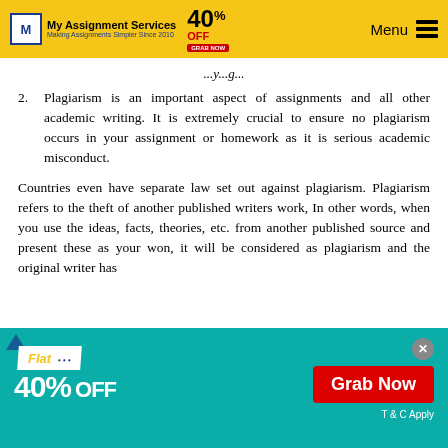My Assignment Services — Making Assignments Simpler Since 2010 | 40% OFF | Menu
2. Plagiarism is an important aspect of assignments and all other academic writing. It is extremely crucial to ensure no plagiarism occurs in your assignment or homework as it is serious academic misconduct.
Countries even have separate law set out against plagiarism. Plagiarism refers to the theft of another published writers work, In other words, when you use the ideas, facts, theories, etc. from another published source and present these as your won, it will be considered as plagiarism and the original writer has
[Figure (infographic): Promotional banner: Flat 40% OFF with Grab Now button and T & C Apply text on teal background]